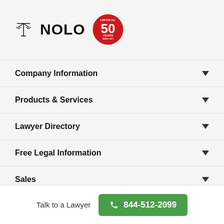[Figure (logo): NOLO logo with scales of justice icon and red 50 years anniversary badge]
Company Information
Products & Services
Lawyer Directory
Free Legal Information
Sales
Talk to a Lawyer  844-512-2099